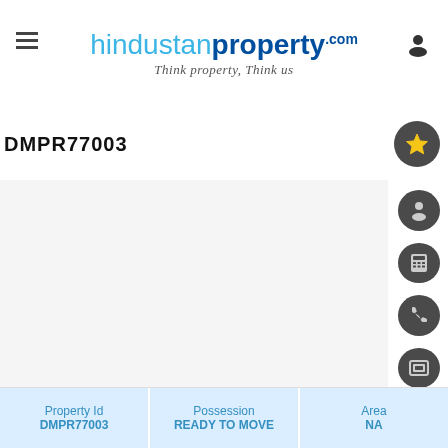hindustan property .com — Think property, Think us
DMPR77003
[Figure (photo): Large blank/empty property image area with light gray background]
| Property Id | Possession | Area |
| --- | --- | --- |
| DMPR77003 | READY TO MOVE | NA |